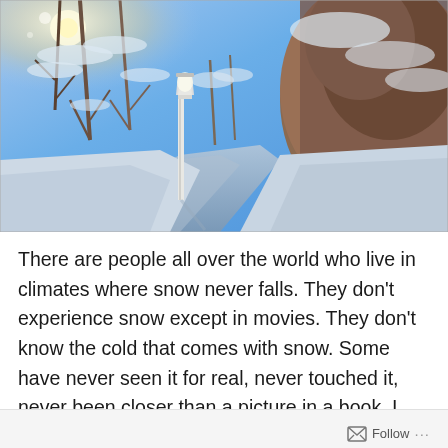[Figure (photo): Winter snow scene with a winding path or driveway lined by a white lamppost, surrounded by snow-covered trees and bushes under a bright blue sky. Sunlight glares from the upper left.]
There are people all over the world who live in climates where snow never falls. They don't experience snow except in movies. They don't know the cold that comes with snow. Some have never seen it for real, never touched it, never been closer than a picture in a book. I
Follow ···